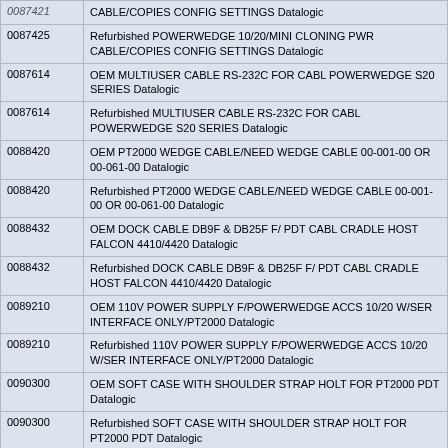| Part Number | Description |
| --- | --- |
| 0087421 | CABLE/COPIES CONFIG SETTINGS Datalogic |
| 0087425 | Refurbished POWERWEDGE 10/20/MINI CLONING PWR CABLE/COPIES CONFIG SETTINGS Datalogic |
| 0087614 | OEM MULTIUSER CABLE RS-232C FOR CABL POWERWEDGE S20 SERIES Datalogic |
| 0087614 | Refurbished MULTIUSER CABLE RS-232C FOR CABL POWERWEDGE S20 SERIES Datalogic |
| 0088420 | OEM PT2000 WEDGE CABLE/NEED WEDGE CABLE 00-001-00 OR 00-061-00 Datalogic |
| 0088420 | Refurbished PT2000 WEDGE CABLE/NEED WEDGE CABLE 00-001-00 OR 00-061-00 Datalogic |
| 0088432 | OEM DOCK CABLE DB9F & DB25F F/ PDT CABL CRADLE HOST FALCON 4410/4420 Datalogic |
| 0088432 | Refurbished DOCK CABLE DB9F & DB25F F/ PDT CABL CRADLE HOST FALCON 4410/4420 Datalogic |
| 0089210 | OEM 110V POWER SUPPLY F/POWERWEDGE ACCS 10/20 W/SER INTERFACE ONLY/PT2000 Datalogic |
| 0089210 | Refurbished 110V POWER SUPPLY F/POWERWEDGE ACCS 10/20 W/SER INTERFACE ONLY/PT2000 Datalogic |
| 0090300 | OEM SOFT CASE WITH SHOULDER STRAP HOLT FOR PT2000 PDT Datalogic |
| 0090300 | Refurbished SOFT CASE WITH SHOULDER STRAP HOLT FOR PT2000 PDT Datalogic |
| 00903TG | OEM SOFT CASE CORDURA NYLON W/ SHOULDER STRA Datalogic |
| 00903TG | Refurbished SOFT CASE CORDURA NYLON W/ SHOULDER STRA Datalogic |
| 0090600 | OEM BELT FOR FALCON HOLSTER Datalogic |
| 0090600 | Refurbished BELT FOR FALCON HOLSTER Datalogic |
| 0090800 | OEM (EOL NO RTN) HOLSTER NYLON/FOAM FOR FALCON 31X/32X/33X - BATCH AND RF Datalogic |
| 0090805 | Refurbished (EOL NO RTN) HOLSTER NYLON/FOAM FOR |